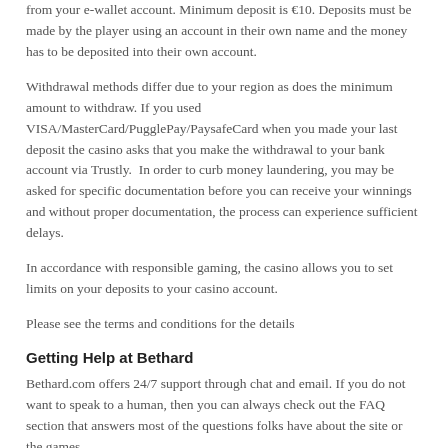from your e-wallet account. Minimum deposit is €10. Deposits must be made by the player using an account in their own name and the money has to be deposited into their own account.
Withdrawal methods differ due to your region as does the minimum amount to withdraw. If you used VISA/MasterCard/PugglePay/PaysafeCard when you made your last deposit the casino asks that you make the withdrawal to your bank account via Trustly.  In order to curb money laundering, you may be asked for specific documentation before you can receive your winnings and without proper documentation, the process can experience sufficient delays.
In accordance with responsible gaming, the casino allows you to set limits on your deposits to your casino account.
Please see the terms and conditions for the details
Getting Help at Bethard
Bethard.com offers 24/7 support through chat and email. If you do not want to speak to a human, then you can always check out the FAQ section that answers most of the questions folks have about the site or the games.